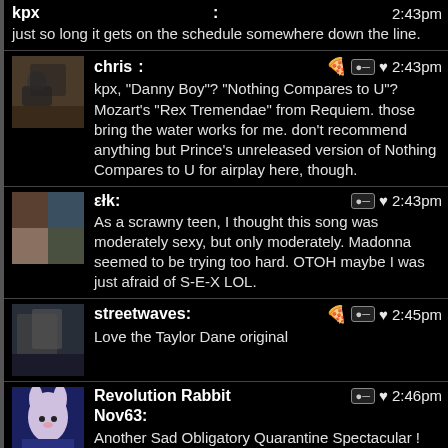kpx: 2:43pm
just so long it gets on the schedule somewhere down the line.
chris: 2:43pm
kpx, "Danny Boy"? "Nothing Compares to U"? Mozart's "Rex Tremendae" from Requiem. those bring the water works for me. don't recommend anything but Prince's unreleased version of Nothing Compares to U for airplay here, though.
εłk: 2:43pm
As a scrawny teen, I thought this song was moderately sexy, but only moderately. Madonna seemed to be trying too hard. OTOH maybe I was just afraid of S-E-X LOL.
streetwaves: 2:45pm
Love the Taylor Dane original
Revolution Rabbit Nov63: 2:46pm
Another Sad Obligatory Quarantine Spectacular !
...It's - the Bedroom Burritos !!
- featuring - the Fabulous Foodbed Fragments